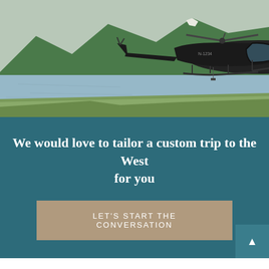[Figure (photo): A black helicopter hovering low over a scenic mountain lake with green hills and rocky peaks in the background. The water is calm and reflective. The helicopter is flying from left to right over the water near a grassy shoreline.]
We would love to tailor a custom trip to the West for you
LET'S START THE CONVERSATION
THE DETAILS